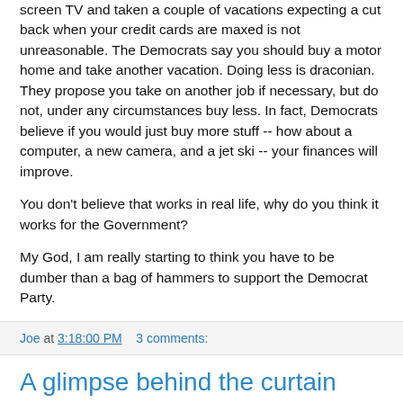screen TV and taken a couple of vacations expecting a cut back when your credit cards are maxed is not unreasonable. The Democrats say you should buy a motor home and take another vacation. Doing less is draconian. They propose you take on another job if necessary, but do not, under any circumstances buy less. In fact, Democrats believe if you would just buy more stuff -- how about a computer, a new camera, and a jet ski -- your finances will improve.
You don't believe that works in real life, why do you think it works for the Government?
My God, I am really starting to think you have to be dumber than a bag of hammers to support the Democrat Party.
Joe at 3:18:00 PM    3 comments:
A glimpse behind the curtain
Yesterday I got up, did the Email thing, read some blogs, and